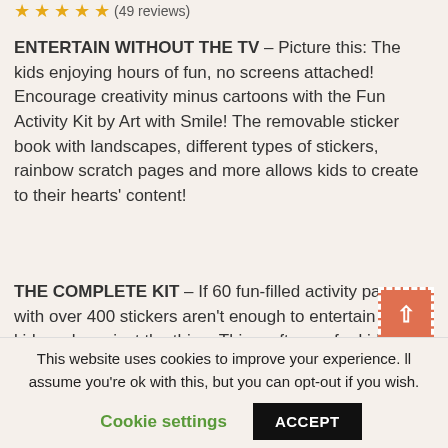★★★★★ (49 reviews)
ENTERTAIN WITHOUT THE TV – Picture this: The kids enjoying hours of fun, no screens attached! Encourage creativity minus cartoons with the Fun Activity Kit by Art with Smile! The removable sticker book with landscapes, different types of stickers, rainbow scratch pages and more allows kids to create to their hearts' content!
THE COMPLETE KIT – If 60 fun-filled activity pages with over 400 stickers aren't enough to entertain your kid, we have just the thing. This craft case for kids also includes a cool pen, a dual ruler and stencil with
This website uses cookies to improve your experience. ll assume you're ok with this, but you can opt-out if you wish.
Cookie settings   ACCEPT